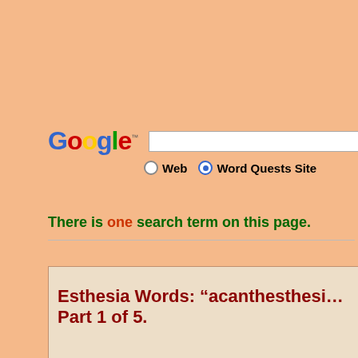[Figure (screenshot): Google search bar with search input field and Search button, radio buttons for Web and Word Quests Site options]
There is one search term on this page.
Esthesia Words: “acanthesthesi… Part 1 of 5.